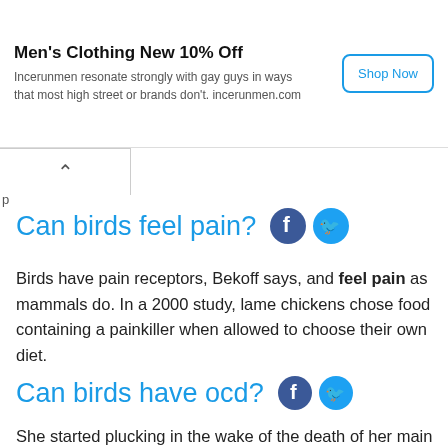[Figure (screenshot): Advertisement banner: 'Men's Clothing New 10% Off' with text 'Incerunmen resonate strongly with gay guys in ways that most high street or brands don't. incerunmen.com' and a 'Shop Now' button.]
Can birds feel pain?
Birds have pain receptors, Bekoff says, and feel pain as mammals do. In a 2000 study, lame chickens chose food containing a painkiller when allowed to choose their own diet.
Can birds have ocd?
She started plucking in the wake of the death of her main human. Feather-picking isn't always a sign of